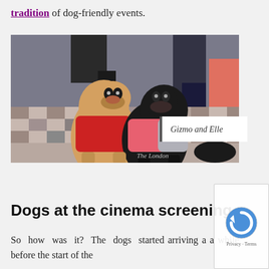tradition of dog-friendly events.
[Figure (photo): Two pugs wearing jackets — one in a red jacket, one in a pink/coral jacket — touching noses on a checkered tile floor, with people's legs visible in the background. Watermark reads 'The London'.]
Gizmo and Elle
Dogs at the cinema screening
So how was it? The dogs started arriving a a while before the start of the